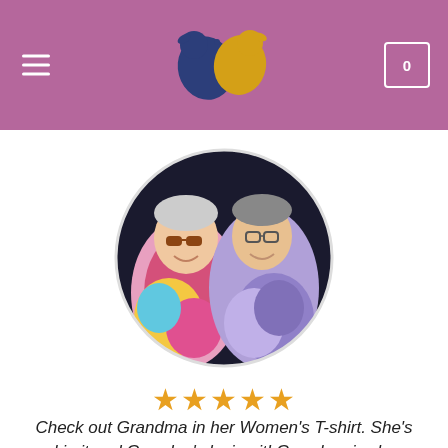Navigation header with hamburger menu, logo (two bird silhouettes in dark blue and gold), and cart icon showing 0
[Figure (photo): Circular cropped photo of an elderly couple smiling, both wearing tie-dye shirts. The woman on the left wears sunglasses; the man on the right wears glasses. Background is dark.]
★★★★★
Check out Grandma in her Women's T-shirt. She's rockin it and Grandpa's loving it! Grandma is shown wearing a large. I ordered her normal size to make sure that Grandma was comfortable in her shirt. She was and she loved it!